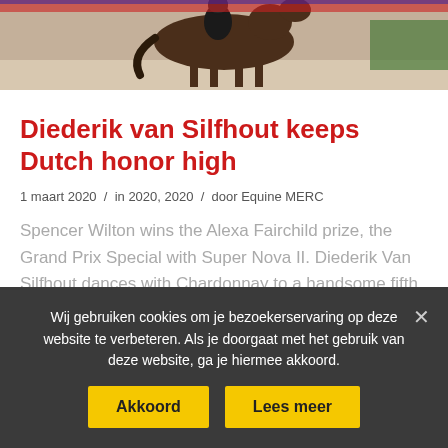[Figure (photo): Photograph of a horse and rider performing dressage, partially cropped at top]
Diederik van Silfhout keeps Dutch honor high
1 maart 2020 / in 2020, 2020 / door Equine MERC
Spencer Wilton wins the Alexa Fairchild prize, the Grand Prix Special with Super Nova II. Diederik Van Silfhout dances with Chardonnay to a handsome fifth place.
A completely British podium in the GP Spécial
Wij gebruiken cookies om je bezoekerservaring op deze website te verbeteren. Als je doorgaat met het gebruik van deze website, ga je hiermee akkoord.